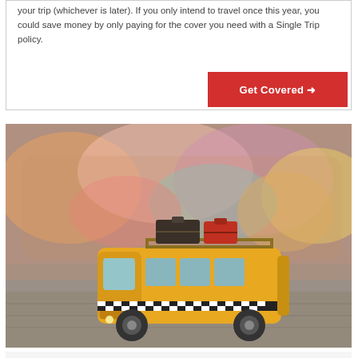your trip (whichever is later). If you only intend to travel once this year, you could save money by only paying for the cover you need with a Single Trip policy.
Get Covered →
[Figure (photo): A toy yellow VW bus/minivan with luggage on the roof rack, photographed in front of a blurred colorful painted bus in the background. The toy vehicle has a checkered stripe and is positioned on a cobblestone surface.]